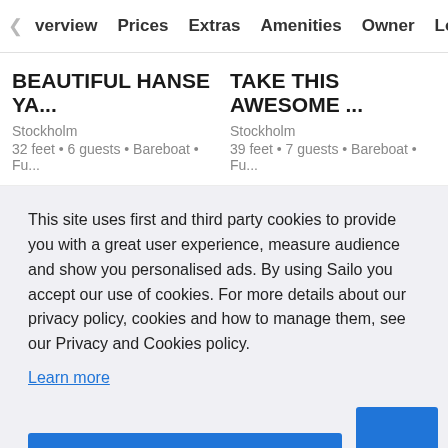Overview  Prices  Extras  Amenities  Owner  Location
BEAUTIFUL HANSE YA...
Stockholm
32 feet • 6 guests • Bareboat • Fu...
TAKE THIS AWESOME ...
Stockholm
39 feet • 7 guests • Bareboat • Fu...
This site uses first and third party cookies to provide you with a great user experience, measure audience and show you personalised ads. By using Sailo you accept our use of cookies. For more details about our privacy policy, cookies and how to manage them, see our Privacy and Cookies policy.
Learn more
Got it!